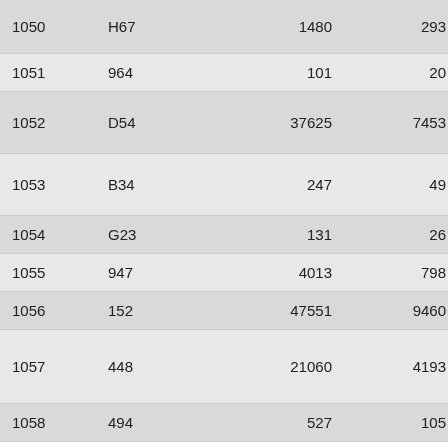| 1050 | H67 | 1480 | 293 | 5.05 |
| 1051 | 964 | 101 | 20 | 5.05 |
| 1052 | D54 | 37625 | 7453 | 5.05 |
| 1053 | B34 | 247 | 49 | 5.04 |
| 1054 | G23 | 131 | 26 | 5.04 |
| 1055 | 947 | 4013 | 798 | 5.03 |
| 1056 | 152 | 47551 | 9460 | 5.03 |
| 1057 | 448 | 21060 | 4193 | 5.02 |
| 1058 | 494 | 527 | 105 | 5.02 |